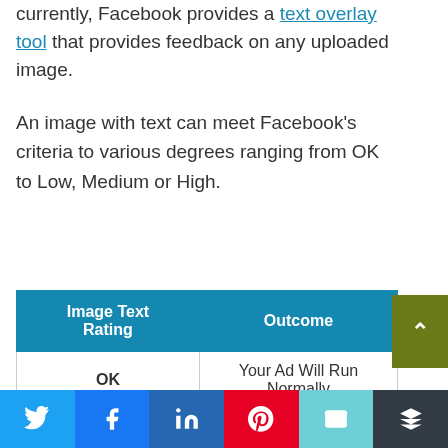currently, Facebook provides a text overlay tool that provides feedback on any uploaded image.
An image with text can meet Facebook’s criteria to various degrees ranging from OK to Low, Medium or High.
| Image Text Rating | Outcome |
| --- | --- |
| OK | Your Ad Will Run Normally |
| Low | Your Ads Reach Ma... |
Twitter Facebook LinkedIn Pinterest Email Buffer